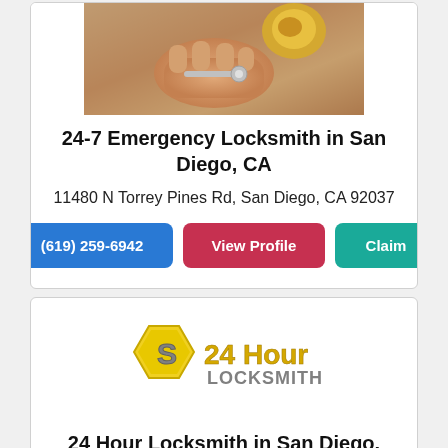[Figure (photo): Photo of hands working on a door lock/knob, close-up shot]
24-7 Emergency Locksmith in San Diego, CA
11480 N Torrey Pines Rd, San Diego, CA 92037
(619) 259-6942  View Profile  Claim
[Figure (logo): 24 Hour Locksmith logo with hexagon S and yellow text]
24 Hour Locksmith in San Diego, CA
San Diego, CA